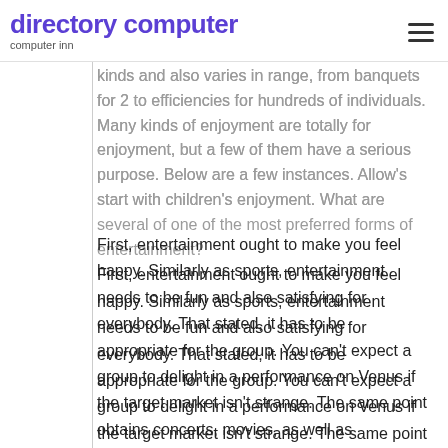directory computer
computer inn
kinds and also varies in range, from banquets for 2 to efficiencies for hundreds of individuals. Many kinds of enjoyment are totally for enjoyment, but a few of them have a serious purpose. Below are a few instances. Allow's start with children's enjoyment. What are several of one of the most preferred forms of entertainment?
First, entertainment ought to make you feel happy. Similarly as sports, entertainment needs to be fun and also satisfying for everybody. That stated, it has to be appropriate for the group. You can't expect a group to delight in a performance on Venus if the target market isn't strange. The same point obtains concerts, movies, as well as